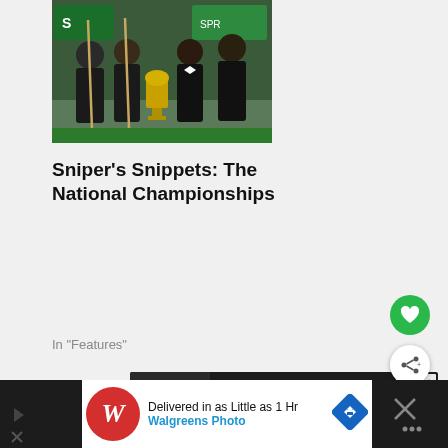[Figure (photo): Snooker players posing with a trophy and cues at the National Championships]
Sniper's Snippets: The National Championships
In "Features"
[Figure (other): Advertisement banner: FIND THE ONE - with a dog image on dark background, with close button]
[Figure (other): Like/favourite button (green circle with heart icon)]
[Figure (other): Share button (white circle with share icon)]
[Figure (other): Bottom advertisement banner: Walgreens Photo - Delivered in as Little as 1 Hr]